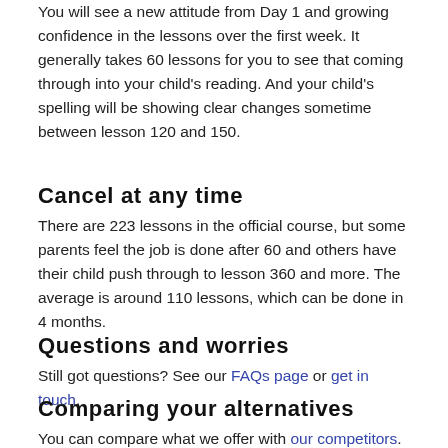You will see a new attitude from Day 1 and growing confidence in the lessons over the first week. It generally takes 60 lessons for you to see that coming through into your child's reading. And your child's spelling will be showing clear changes sometime between lesson 120 and 150.
Cancel at any time
There are 223 lessons in the official course, but some parents feel the job is done after 60 and others have their child push through to lesson 360 and more. The average is around 110 lessons, which can be done in 4 months.
Questions and worries
Still got questions? See our FAQs page or get in touch.
Comparing your alternatives
You can compare what we offer with our competitors. You